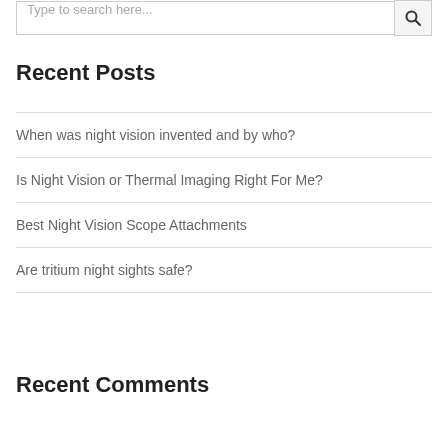Type to search here...
Recent Posts
When was night vision invented and by who?
Is Night Vision or Thermal Imaging Right For Me?
Best Night Vision Scope Attachments
Are tritium night sights safe?
Recent Comments